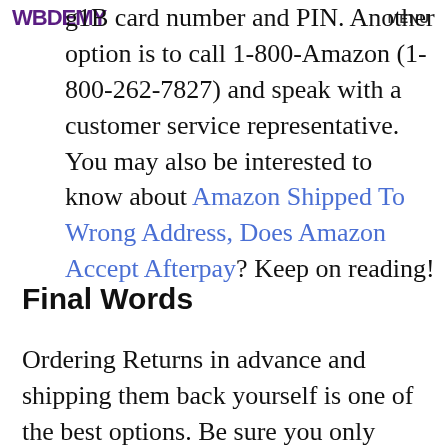WBDEMY MENU
g1B card number and PIN. Another option is to call 1-800-Amazon (1-800-262-7827) and speak with a customer service representative. You may also be interested to know about Amazon Shipped To Wrong Address, Does Amazon Accept Afterpay? Keep on reading!
Final Words
Ordering Returns in advance and shipping them back yourself is one of the best options. Be sure you only